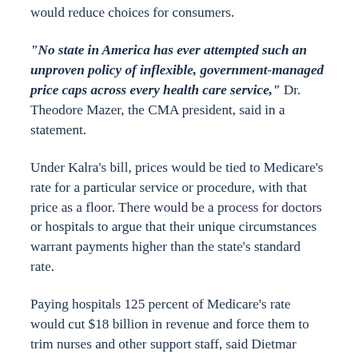would reduce choices for consumers.
“No state in America has ever attempted such an unproven policy of inflexible, government-managed price caps across every health care service,” Dr. Theodore Mazer, the CMA president, said in a statement.
Under Kalra’s bill, prices would be tied to Medicare’s rate for a particular service or procedure, with that price as a floor. There would be a process for doctors or hospitals to argue that their unique circumstances warrant payments higher than the state’s standard rate.
Paying hospitals 125 percent of Medicare’s rate would cut $18 billion in revenue and force them to trim nurses and other support staff, said Dietmar Grellman, senior vice president of the California Hospital Association. Private insurers make up for the low payments from government-funded health care, which doesn’t cover